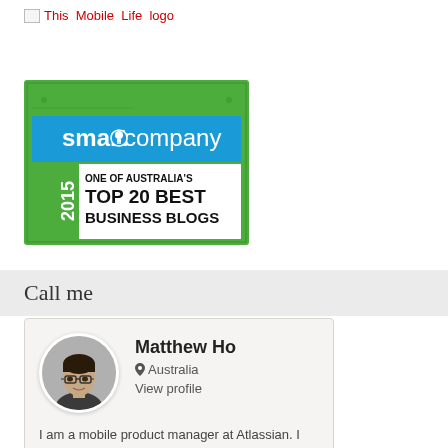[Figure (logo): This Mobile Life logo - shown as broken image placeholder with red text label]
[Figure (illustration): SmartCompany badge: 2015 One of Australia's Top 20 Best Business Blogs. Green border with money pattern, blue SmartCompany header bar with lightbulb logo icon, green left band showing '2015', black bold text on white: ONE OF AUSTRALIA'S TOP 20 BEST BUSINESS BLOGS]
Call me
[Figure (photo): Profile card for Matthew Ho. Circular profile photo of an Asian man wearing glasses and a dark shirt. Location: Australia. Link: View profile. Bio: I am a mobile product manager at Atlassian. I have co-founded two businesses - Native Tonque.... More]